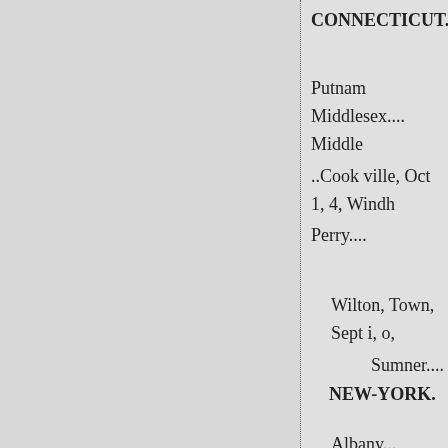CONNECTICUT.
Putnam Middlesex.... Middle
..Cook ville, Oct 1, 4, Windh
Perry....
Wilton, Town, Sept i, o,
Sumner....
NEW-YORK.
Albany... Albany, Sept 18,
Warren....McMinnville, Oct S
MISSOURI. Broome.... Lisle
Cole....Jefferson City, Oct 1,
Clay... Liberty, Oct 2, 7. Brv
Cattaraugus... Little Valley. Sep